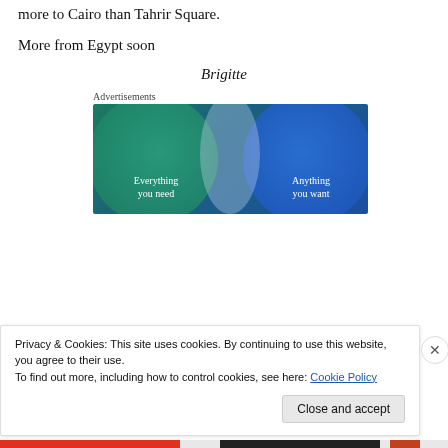more to Cairo than Tahrir Square.
More from Egypt soon
Brigitte
[Figure (illustration): Advertisement banner with Venn diagram showing two overlapping circles on a blue-green gradient background. Left circle labeled 'Everything you need', right circle labeled 'Anything you want'.]
Privacy & Cookies: This site uses cookies. By continuing to use this website, you agree to their use.
To find out more, including how to control cookies, see here: Cookie Policy